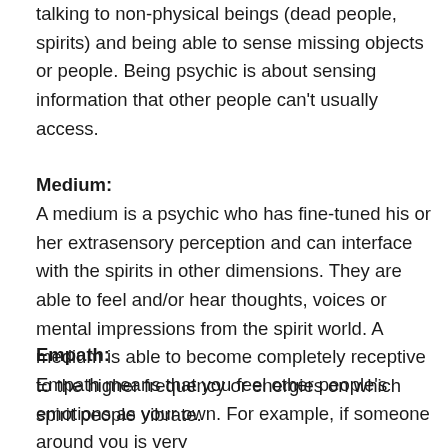talking to non-physical beings (dead people, spirits) and being able to sense missing objects or people. Being psychic is about sensing information that other people can't usually access.
Medium:
A medium is a psychic who has fine-tuned his or her extrasensory perception and can interface with the spirits in other dimensions. They are able to feel and/or hear thoughts, voices or mental impressions from the spirit world. A medium is able to become completely receptive to the higher frequency or energies on which spirit people vibrate.
Empath:
Empath means that you feel other people's emotions as your own. For example, if someone around you is very